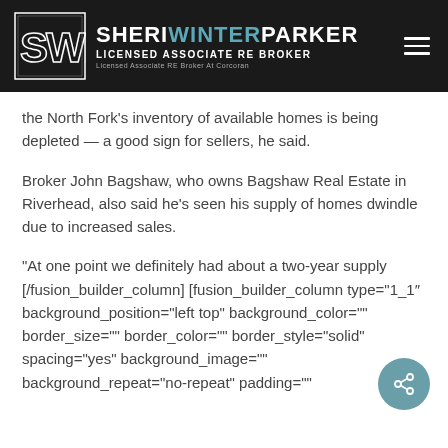SHERI WINTER PARKER — LICENSED ASSOCIATE RE BROKER — Licensed Associate RE Broker At Corcoran
the North Fork's inventory of available homes is being depleted — a good sign for sellers, he said.
Broker John Bagshaw, who owns Bagshaw Real Estate in Riverhead, also said he's seen his supply of homes dwindle due to increased sales.
“At one point we definitely had about a two-year supply [/fusion_builder_column] [fusion_builder_column type=“1_1″ background_position=“left top” background_color=“” border_size=“” border_color=“” border_style=“solid” spacing=“yes” background_image=“” background_repeat=“no-repeat” padding=“”